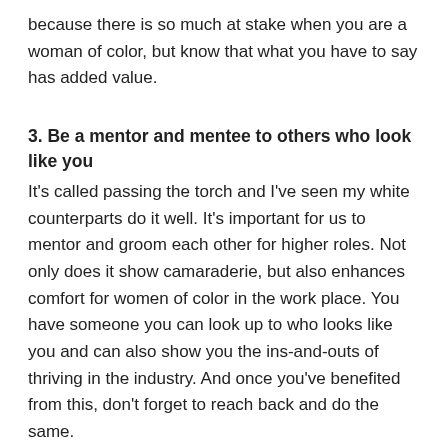because there is so much at stake when you are a woman of color, but know that what you have to say has added value.
3. Be a mentor and mentee to others who look like you
It's called passing the torch and I've seen my white counterparts do it well. It's important for us to mentor and groom each other for higher roles. Not only does it show camaraderie, but also enhances comfort for women of color in the work place. You have someone you can look up to who looks like you and can also show you the ins-and-outs of thriving in the industry. And once you've benefited from this, don't forget to reach back and do the same.
4. Be comfortable in your own skin
Recently, a friend told me she decided to not put braids in her hair because she did not want to be judged or